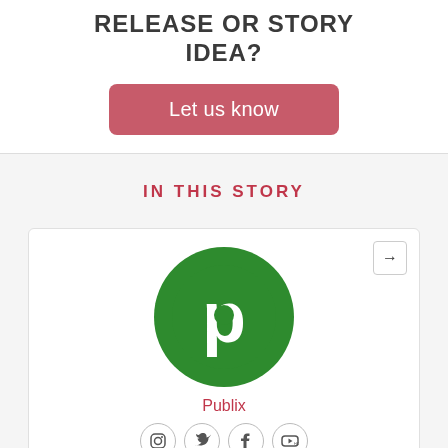RELEASE OR STORY IDEA?
Let us know
IN THIS STORY
[Figure (logo): Publix supermarket logo — white letter P on a green circle]
Publix
[Figure (infographic): Social media icons: Instagram, Twitter, Facebook, YouTube]